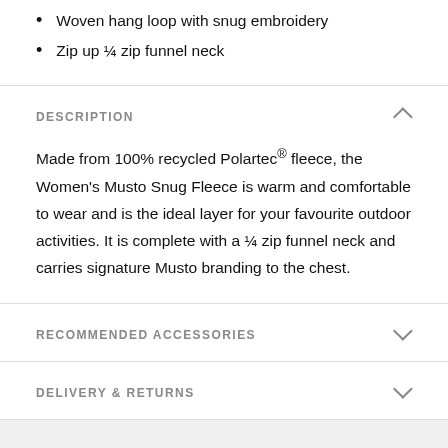Woven hang loop with snug embroidery
Zip up ¼ zip funnel neck
DESCRIPTION
Made from 100% recycled Polartec® fleece, the Women's Musto Snug Fleece is warm and comfortable to wear and is the ideal layer for your favourite outdoor activities. It is complete with a ¼ zip funnel neck and carries signature Musto branding to the chest.
RECOMMENDED ACCESSORIES
DELIVERY & RETURNS